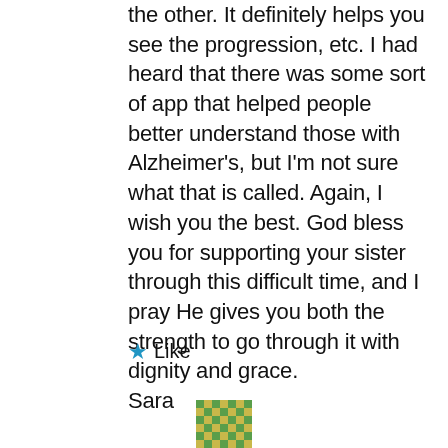the other. It definitely helps you see the progression, etc. I had heard that there was some sort of app that helped people better understand those with Alzheimer's, but I'm not sure what that is called. Again, I wish you the best. God bless you for supporting your sister through this difficult time, and I pray He gives you both the strength to go through it with dignity and grace.
Sara
★ Like
[Figure (illustration): Small mosaic/checkerboard pattern avatar icon in green and yellow tones]